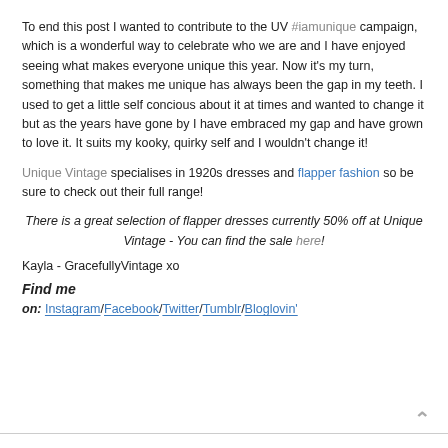To end this post I wanted to contribute to the UV #iamunique campaign, which is a wonderful way to celebrate who we are and I have enjoyed seeing what makes everyone unique this year. Now it's my turn, something that makes me unique has always been the gap in my teeth. I used to get a little self concious about it at times and wanted to change it but as the years have gone by I have embraced my gap and have grown to love it. It suits my kooky, quirky self and I wouldn't change it!
Unique Vintage specialises in 1920s dresses and flapper fashion so be sure to check out their full range!
There is a great selection of flapper dresses currently 50% off at Unique Vintage - You can find the sale here!
Kayla - GracefullyVintage xo
Find me
on: Instagram/Facebook/Twitter/Tumblr/Bloglovin'